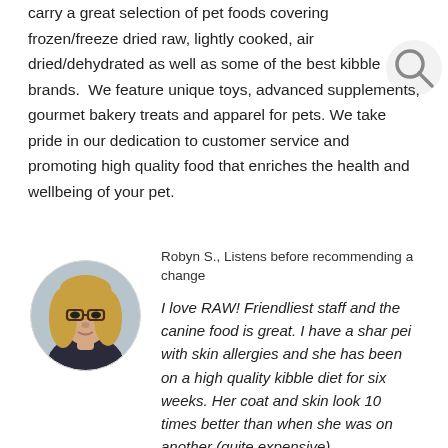carry a great selection of pet foods covering frozen/freeze dried raw, lightly cooked, air dried/dehydrated as well as some of the best kibble brands. We feature unique toys, advanced supplements, gourmet bakery treats and apparel for pets. We take pride in our dedication to customer service and promoting high quality food that enriches the health and wellbeing of your pet.
[Figure (photo): Circular profile photo of a woman with blonde hair and glasses]
Robyn S., Listens before recommending a change
I love RAW! Friendliest staff and the canine food is great. I have a shar pei with skin allergies and she has been on a high quality kibble diet for six weeks. Her coat and skin look 10 times better than when she was on another (quite expensive)